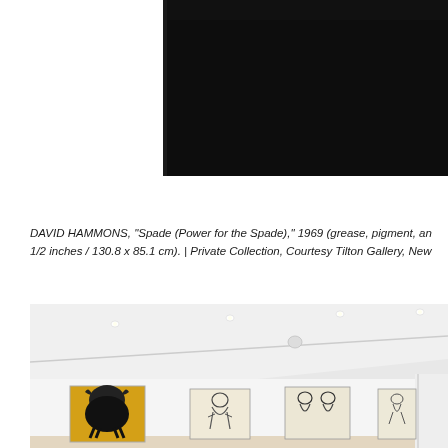[Figure (photo): Partial view of a framed artwork on a dark/black background, cropped at top of page]
DAVID HAMMONS, "Spade (Power for the Spade)," 1969 (grease, pigment, and 1/2 inches / 130.8 x 85.1 cm). | Private Collection, Courtesy Tilton Gallery, New
[Figure (photo): Gallery interior showing white walls with recessed ceiling lights and four framed artworks hung in a row. The leftmost artwork has a golden/orange background with a dark figure silhouette. The remaining three are lighter/cream colored with dark figure sketches.]